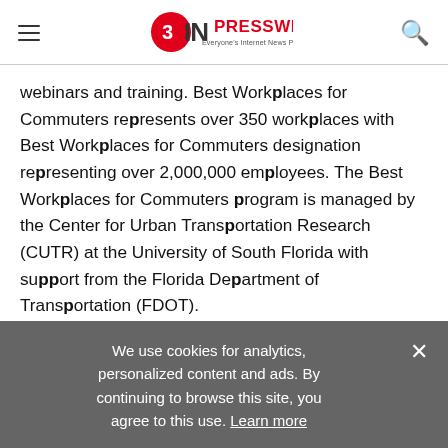EIN PRESSWIRE - Everyone's Internet News Presswire
webinars and training. Best Workplaces for Commuters represents over 350 workplaces with Best Workplaces for Commuters designation representing over 2,000,000 employees. The Best Workplaces for Commuters program is managed by the Center for Urban Transportation Research (CUTR) at the University of South Florida with support from the Florida Department of Transportation (FDOT).
(http://www.bestworkplaces.org/)
We use cookies for analytics, personalized content and ads. By continuing to browse this site, you agree to this use. Learn more